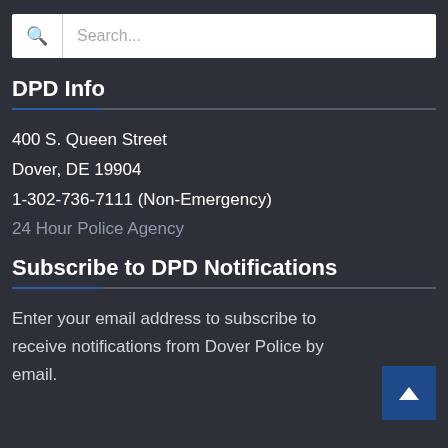Search...
DPD Info
400 S. Queen Street
Dover, DE 19904
1-302-736-7111 (Non-Emergency)
24 Hour Police Agency
Subscribe to DPD Notifications
Enter your email address to subscribe to receive notifications from Dover Police by email.